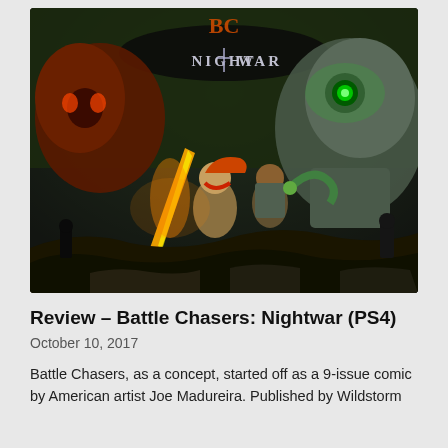[Figure (illustration): Battle Chasers: Nightwar video game cover art showing fantasy characters with weapons against a dark background, with the game logo 'Nightwar' at the top in stylized text]
Review – Battle Chasers: Nightwar (PS4)
October 10, 2017
Battle Chasers, as a concept, started off as a 9-issue comic by American artist Joe Madureira. Published by Wildstorm and later Crossgen, the issue numbers are...